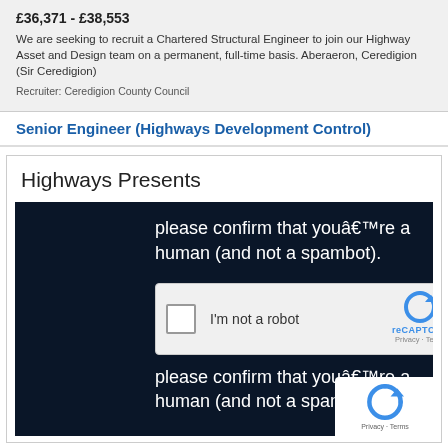£36,371 - £38,553
We are seeking to recruit a Chartered Structural Engineer to join our Highway Asset and Design team on a permanent, full-time basis. Aberaeron, Ceredigion (Sir Ceredigion)
Recruiter: Ceredigion County Council
Senior Engineer (Highways Development Control)
Highways Presents
[Figure (screenshot): reCAPTCHA verification widget on dark navy background. Text reads 'please confirm that youâ€™re a human (and not a spambot).' with a checkbox labeled 'I'm not a robot' and reCAPTCHA branding. Repeated text block and reCAPTCHA logo visible in bottom-right corner.]